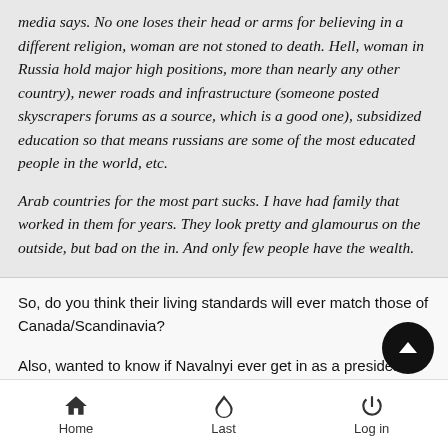media says. No one loses their head or arms for believing in a different religion, woman are not stoned to death. Hell, woman in Russia hold major high positions, more than nearly any other country), newer roads and infrastructure (someone posted skyscrapers forums as a source, which is a good one), subsidized education so that means russians are some of the most educated people in the world, etc.

Arab countries for the most part sucks. I have had family that worked in them for years. They look pretty and glamourus on the outside, but bad on the in. And only few people have the wealth.
So, do you think their living standards will ever match those of Canada/Scandinavia?

Also, wanted to know if Navalnyi ever get in as a president, would it be good for Russia?Or do you think that
Home  Last  Log in